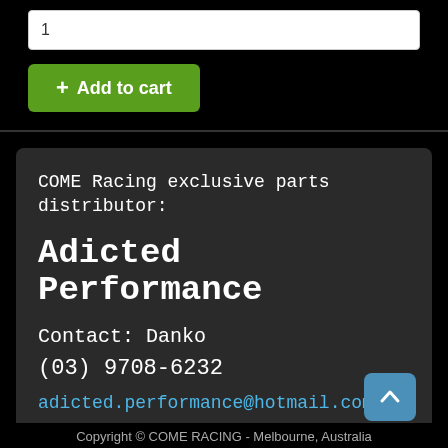1
+ Add to cart
COME Racing exclusive parts distributor:

Adicted Performance

Contact: Danko
(03) 9708-6232
adicted.performance@hotmail.com
Copyright © COME RACING - Melbourne, Australia